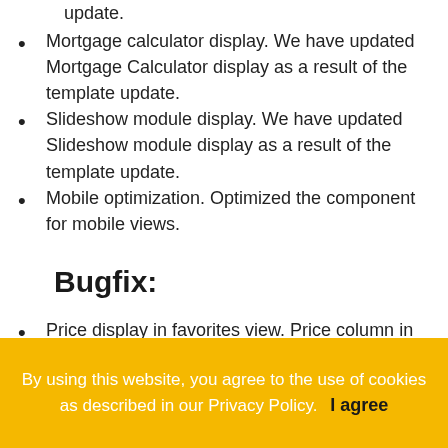update.
Mortgage calculator display. We have updated Mortgage Calculator display as a result of the template update.
Slideshow module display. We have updated Slideshow module display as a result of the template update.
Mobile optimization. Optimized the component for mobile views.
Bugfix:
Price display in favorites view. Price column in
By using this website, you agree to the use of cookies as described in our Privacy Policy.
I agree